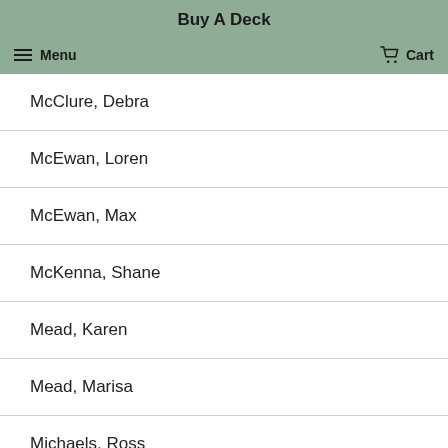Buy A Deck
Menu  Cart
McClure, Debra
McEwan, Loren
McEwan, Max
McKenna, Shane
Mead, Karen
Mead, Marisa
Michaels, Ross